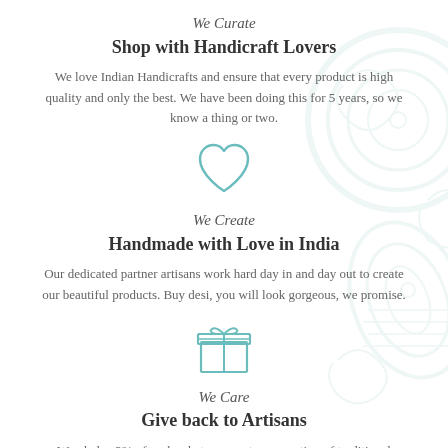We Curate
Shop with Handicraft Lovers
We love Indian Handicrafts and ensure that every product is high quality and only the best. We have been doing this for 5 years, so we know a thing or two.
[Figure (illustration): Teal outline heart icon]
We Create
Handmade with Love in India
Our dedicated partner artisans work hard day in and day out to create our beautiful products. Buy desi, you will look gorgeous, we promise.
[Figure (illustration): Teal outline gift box icon]
We Care
Give back to Artisans
We pledge 2% of each sale to support preservation of traditional Indian